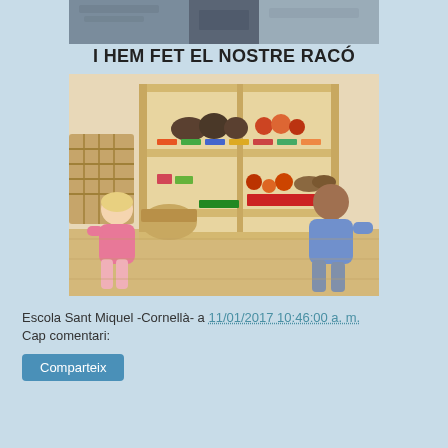[Figure (photo): Partial top photo of children or classroom scene, cropped at page top]
I HEM FET EL NOSTRE RACÓ
[Figure (photo): Two children sitting on the floor in front of a wooden shelf unit filled with natural materials, fruits, pine cones, and colorful trays in a classroom setting]
Escola Sant Miquel -Cornellà- a 11/01/2017 10:46:00 a. m.
Cap comentari:
Comparteix